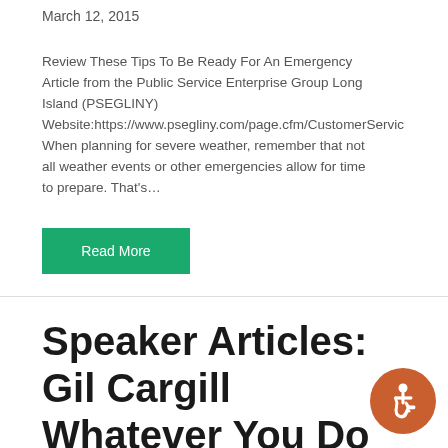March 12, 2015
Review These Tips To Be Ready For An Emergency Article from the Public Service Enterprise Group Long Island (PSEGLINY) Website:https://www.psegliny.com/page.cfm/CustomerServic When planning for severe weather, remember that not all weather events or other emergencies allow for time to prepare. That's…
Read More
Speaker Articles: Gil Cargill Whatever You Do Don't Do This